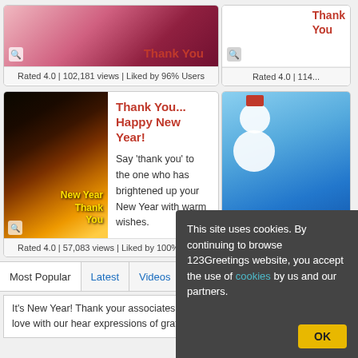[Figure (screenshot): Greeting card thumbnail - Thank You with pink roses]
Rated 4.0 | 102,181 views | Liked by 96% Users
[Figure (screenshot): Partial right card - Thank You greeting]
Rated 4.0 | 114...
[Figure (screenshot): New Year Thank You card with candles]
Thank You... Happy New Year!
Say 'thank you' to the one who has brightened up your New Year with warm wishes.
Rated 4.0 | 57,083 views | Liked by 100% Users
[Figure (screenshot): New Year Thank You card with snowman]
Rated 4.2 | 77,...
Most Popular | Latest | Videos | Postcards | GIF Cards
It's New Year! Thank your associates, friends round-the-year support and love with our hear expressions of gratitude and begin their New Y...
This site uses cookies. By continuing to browse 123Greetings website, you accept the use of cookies by us and our partners.